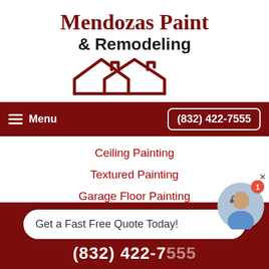Mendozas Paint & Remodeling
[Figure (logo): Red outline logo of two house rooftops overlapping, minimalist line art style]
Menu   (832) 422-7555
Ceiling Painting
Textured Painting
Garage Floor Painting
Wallpaper Removal
Get a Fast Free Quote Today!
(832) 422-7555